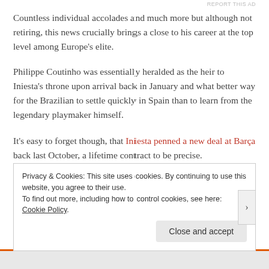Countless individual accolades and much more but although not retiring, this news crucially brings a close to his career at the top level among Europe's elite.
Philippe Coutinho was essentially heralded as the heir to Iniesta's throne upon arrival back in January and what better way for the Brazilian to settle quickly in Spain than to learn from the legendary playmaker himself.
It's easy to forget though, that Iniesta penned a new deal at Barça back last October, a lifetime contract to be precise.
Privacy & Cookies: This site uses cookies. By continuing to use this website, you agree to their use.
To find out more, including how to control cookies, see here: Cookie Policy